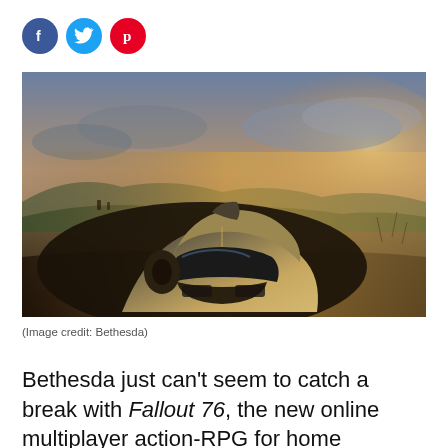[Figure (other): Three social media share icons: Facebook (blue circle with 'f'), Twitter (light blue circle with bird icon), Pinterest (red circle with 'p')]
[Figure (photo): Promotional artwork for Fallout 76 showing a large weathered power armor helmet in the foreground resting on the ground, with a post-apocalyptic landscape and dramatic cloudy sky in the background. Two small figures visible in the left middle distance.]
(Image credit: Bethesda)
Bethesda just can't seem to catch a break with Fallout 76, the new online multiplayer action-RPG for home